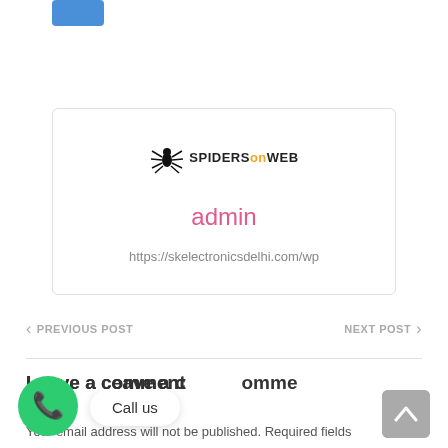[Figure (screenshot): Blue navigation button at top left]
[Figure (logo): Spiders on Web logo with spider icon and brand name in black and orange]
admin
https://skelectronicsdelhi.com/wp
< PREVIOUS POST
NEXT POST >
Leave a comment
Your email address will not be published. Required fields
[Figure (illustration): Green phone/call button circle]
Call us
[Figure (illustration): Gray scroll-to-top button with upward arrow]